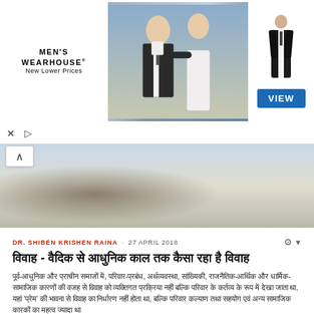[Figure (photo): Men's Wearhouse advertisement banner showing couple in formal wedding attire and man in tuxedo with VIEW button]
[Figure (photo): Hero image showing close-up of person in white shirt/jacket being dressed or fitted]
DR. SHIBEN KRISHEN RAINA · 27 APRIL 2018
Hindi title text in Devanagari script
Hindi body paragraph text in Devanagari script